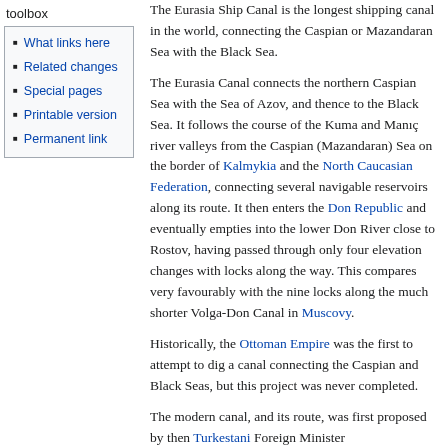toolbox
What links here
Related changes
Special pages
Printable version
Permanent link
The Eurasia Ship Canal is the longest shipping canal in the world, connecting the Caspian or Mazandaran Sea with the Black Sea.
The Eurasia Canal connects the northern Caspian Sea with the Sea of Azov, and thence to the Black Sea. It follows the course of the Kuma and Manıç river valleys from the Caspian (Mazandaran) Sea on the border of Kalmykia and the North Caucasian Federation, connecting several navigable reservoirs along its route. It then enters the Don Republic and eventually empties into the lower Don River close to Rostov, having passed through only four elevation changes with locks along the way. This compares very favourably with the nine locks along the much shorter Volga-Don Canal in Muscovy.
Historically, the Ottoman Empire was the first to attempt to dig a canal connecting the Caspian and Black Seas, but this project was never completed.
The modern canal, and its route, was first proposed by then Turkestani Foreign Minister